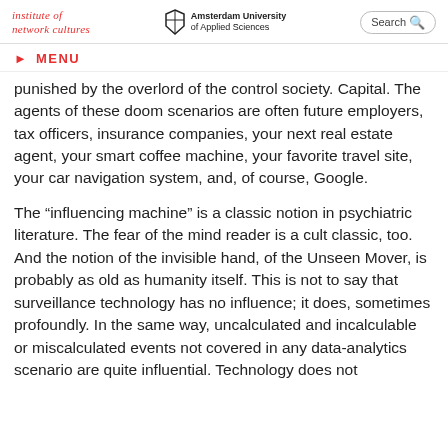institute of network cultures | Amsterdam University of Applied Sciences | Search
MENU
punished by the overlord of the control society. Capital. The agents of these doom scenarios are often future employers, tax officers, insurance companies, your next real estate agent, your smart coffee machine, your favorite travel site, your car navigation system, and, of course, Google.
The “influencing machine” is a classic notion in psychiatric literature. The fear of the mind reader is a cult classic, too. And the notion of the invisible hand, of the Unseen Mover, is probably as old as humanity itself. This is not to say that surveillance technology has no influence; it does, sometimes profoundly. In the same way, uncalculated and incalculable or miscalculated events not covered in any data-analytics scenario are quite influential. Technology does not